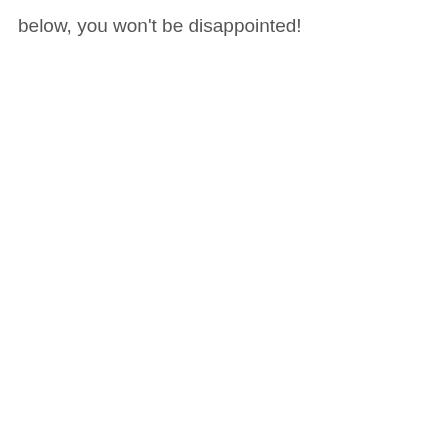below, you won't be disappointed!